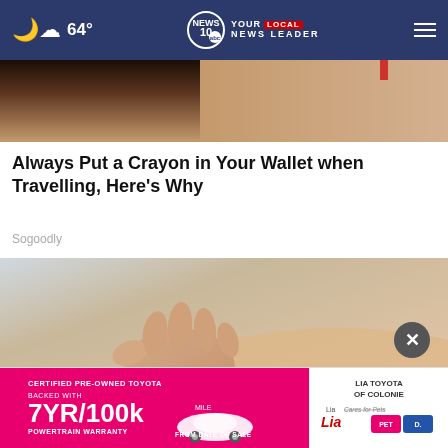64° NEWS 10 YOUR LOCAL NEWS LEADER
[Figure (photo): Close-up photo of a wallet or leather object, partially visible at top of article]
Always Put a Crayon in Your Wallet when Travelling, Here's Why
Sogoodly
[Figure (photo): A hand holding a white crayon or pen against skin with a mole]
[Figure (photo): Toyota advertisement: Certified Pre-Owned Toyota backed with 7YR/100k Mile Powertrain Warranty from date of sale. Lia Toyota of Colonie. Lia Cares for Pets. Lia PET.]